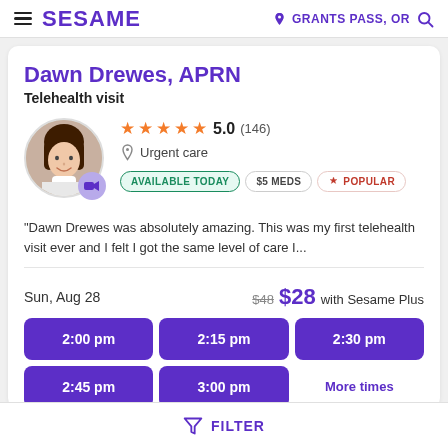SESAME | GRANTS PASS, OR
Dawn Drewes, APRN
Telehealth visit
[Figure (photo): Profile photo of Dawn Drewes, APRN with video badge]
★★★★★ 5.0 (146) Urgent care
AVAILABLE TODAY | $5 MEDS | POPULAR
"Dawn Drewes was absolutely amazing. This was my first telehealth visit ever and I felt I got the same level of care I...
Sun, Aug 28  $48  $28 with Sesame Plus
2:00 pm  2:15 pm  2:30 pm  2:45 pm  3:00 pm  More times
FILTER